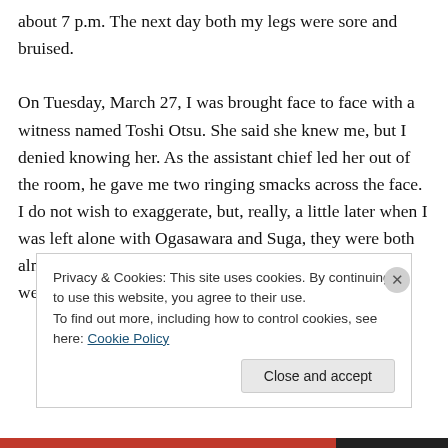about 7 p.m. The next day both my legs were sore and bruised.

On Tuesday, March 27, I was brought face to face with a witness named Toshi Otsu. She said she knew me, but I denied knowing her. As the assistant chief led her out of the room, he gave me two ringing smacks across the face. I do not wish to exaggerate, but, really, a little later when I was left alone with Ogasawara and Suga, they were both almost in a frenzy of rage. All the old threats and abuse were
Privacy & Cookies: This site uses cookies. By continuing to use this website, you agree to their use.
To find out more, including how to control cookies, see here: Cookie Policy